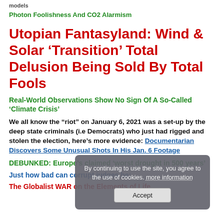models
Photon Foolishness And CO2 Alarmism
Utopian Fantasyland: Wind & Solar ‘Transition’ Total Delusion Being Sold By Total Fools
Real-World Observations Show No Sign Of A So-Called ‘Climate Crisis’
We all know the “riot” on January 6, 2021 was a set-up by the deep state criminals (i.e Democrats) who just had rigged and stolen the election, here’s more evidence: Documentarian Discovers Some Unusual Shots In His Jan. 6 Footage
DEBUNKED: Europe’s claimed ‘worst drought in 500 years’
Just how bad can corrupt judges be:
The Globalist WAR on the Elements of Life